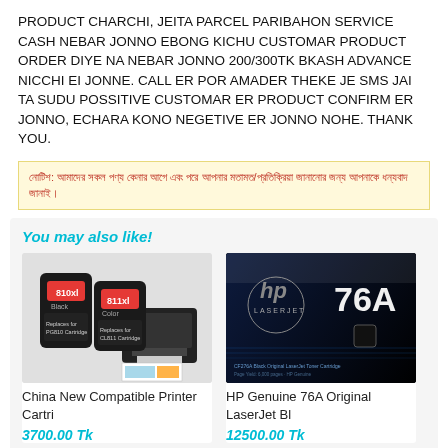PRODUCT CHARCHI, JEITA PARCEL PARIBAHON SERVICE CASH NEBAR JONNO EBONG KICHU CUSTOMAR PRODUCT ORDER DIYE NA NEBAR JONNO 200/300TK BKASH ADVANCE NICCHI EI JONNE. CALL ER POR AMADER THEKE JE SMS JAI TA SUDU POSSITIVE CUSTOMAR ER PRODUCT CONFIRM ER JONNO, ECHARA KONO NEGETIVE ER JONNO NOHE. THANK YOU.
[Bengali notice text about product/service policy]
You may also like!
[Figure (photo): China New Compatible Printer Cartridges with printer and printed photos]
China New Compatible Printer Cartri
3700.00 Tk
[Figure (photo): HP Genuine 76A Original LaserJet Black toner cartridge box]
HP Genuine 76A Original LaserJet Bl
12500.00 Tk